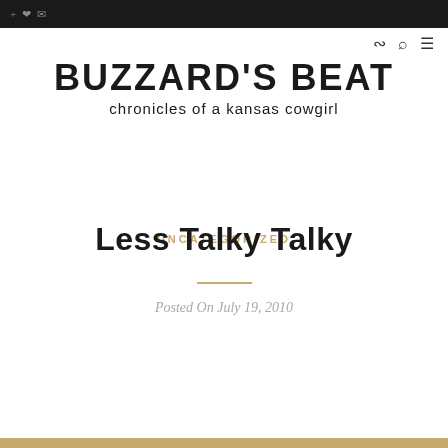BUZZARD'S BEAT chronicles of a kansas cowgirl
UNCATEGORIZED
Less Talky Talky
Posted On July 19, 2010